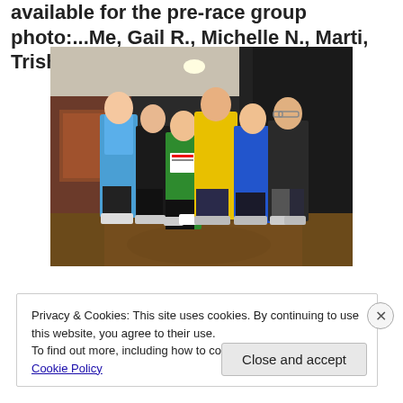available for the pre-race group photo:...Me, Gail R., Michelle N., Marti, Trisha D., and Nicki T.
[Figure (photo): Group photo of six women in athletic/running gear posing together in what appears to be a hotel lobby or corridor. Women are wearing colorful jackets and running clothes. Some wearing race bibs.]
Privacy & Cookies: This site uses cookies. By continuing to use this website, you agree to their use.
To find out more, including how to control cookies, see here: Cookie Policy
Close and accept